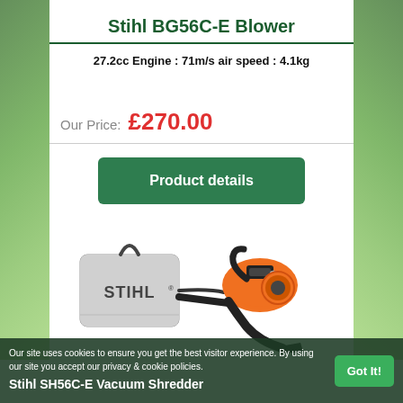Stihl BG56C-E Blower
27.2cc Engine : 71m/s air speed : 4.1kg
Our Price:  £270.00
Product details
[Figure (photo): Stihl BG56C-E leaf blower with collection bag, orange and black handheld blower unit shown alongside grey STIHL branded collection bag with carry handle]
Our site uses cookies to ensure you get the best visitor experience. By using our site you accept our privacy & cookie policies.
Got It!
Stihl SH56C-E Vacuum Shredder